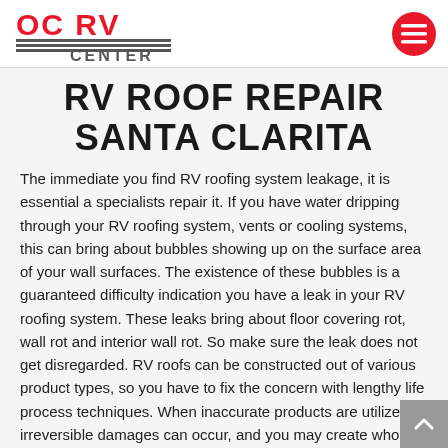OC RV CENTER logo and navigation menu button
RV ROOF REPAIR SANTA CLARITA
The immediate you find RV roofing system leakage, it is essential a specialists repair it. If you have water dripping through your RV roofing system, vents or cooling systems, this can bring about bubbles showing up on the surface area of your wall surfaces. The existence of these bubbles is a guaranteed difficulty indication you have a leak in your RV roofing system. These leaks bring about floor covering rot, wall rot and interior wall rot. So make sure the leak does not get disregarded. RV roofs can be constructed out of various product types, so you have to fix the concern with lengthy life process techniques. When inaccurate products are utilized, irreversible damages can occur, and you may create whole change the entire RV